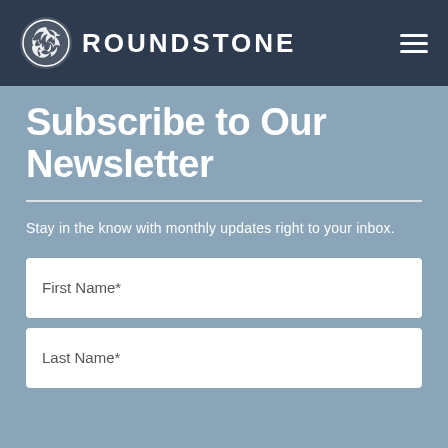[Figure (logo): Roundstone logo with swirl icon and text ROUNDSTONE in white on dark navy header bar]
Subscribe to Our Newsletter
Stay in the know with monthly updates right to your inbox.
First Name*
Last Name*